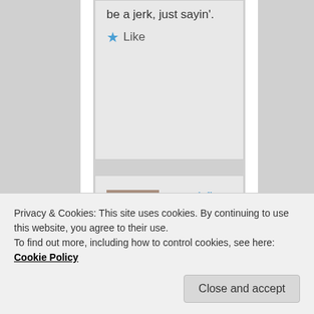be a jerk, just sayin'.
★ Like
esmeelafleur on July 8, 2018 at 12:24 PM said:
I don't think we really know, Jordan,
Privacy & Cookies: This site uses cookies. By continuing to use this website, you agree to their use.
To find out more, including how to control cookies, see here: Cookie Policy
Close and accept